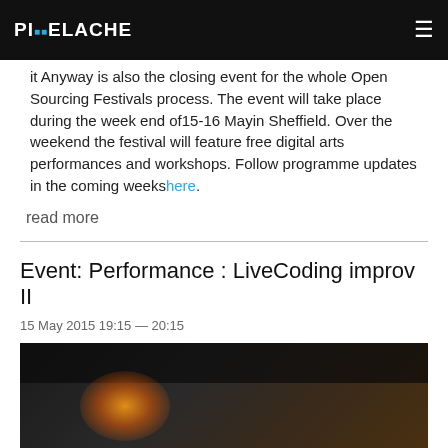PIXELACHE
it Anyway is also the closing event for the whole Open Sourcing Festivals process. The event will take place during the week end of15-16 Mayin Sheffield. Over the weekend the festival will feature free digital arts performances and workshops. Follow programme updates in the coming weekshere.
read more
Event: Performance : LiveCoding improv II
15 May 2015 19:15 — 20:15
[Figure (photo): Dark performance photo showing a warm orange/amber glowing light against a dark background, likely a live performance or instrument shot.]